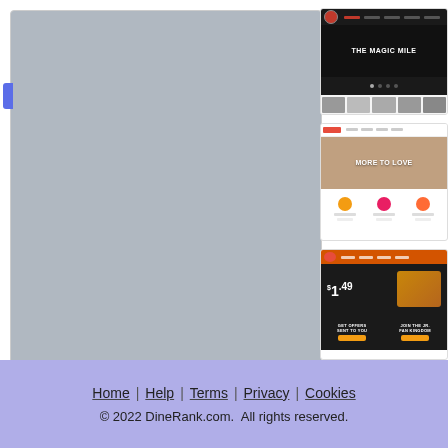[Figure (screenshot): Large gray placeholder area on the left side of the page]
[Figure (screenshot): Screenshot of a website showing 'THE MAGIC MILE' with dark navigation bar and banner]
[Figure (screenshot): Screenshot of a website showing 'MORE TO LOVE' with a hero image of a woman and icons below]
[Figure (screenshot): Screenshot of Burger King website showing '$1.49' price with food image and 'GET OFFERS SENT TO YOU' / 'JOIN THE JR. FAN KINGDOM' CTAs]
Home | Help | Terms | Privacy | Cookies
© 2022 DineRank.com.  All rights reserved.